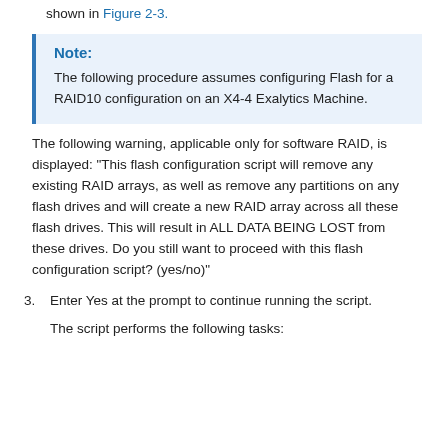shown in Figure 2-3.
Note:
The following procedure assumes configuring Flash for a RAID10 configuration on an X4-4 Exalytics Machine.
The following warning, applicable only for software RAID, is displayed: "This flash configuration script will remove any existing RAID arrays, as well as remove any partitions on any flash drives and will create a new RAID array across all these flash drives. This will result in ALL DATA BEING LOST from these drives. Do you still want to proceed with this flash configuration script? (yes/no)"
3. Enter Yes at the prompt to continue running the script.
The script performs the following tasks: